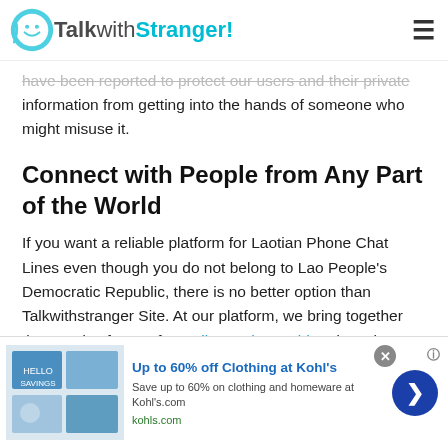TalkwithStranger!
have been reported to protect our users and their private information from getting into the hands of someone who might misuse it.
Connect with People from Any Part of the World
If you want a reliable platform for Laotian Phone Chat Lines even though you do not belong to Lao People's Democratic Republic, there is no better option than Talkwithstranger Site. At our platform, we bring together thousands of users from all over the world and you have the option of selecting from a diverse range of ethnicities
[Figure (screenshot): Advertisement banner: Up to 60% off Clothing at Kohl's - Save up to 60% on clothing and homeware at Kohls.com - kohls.com]